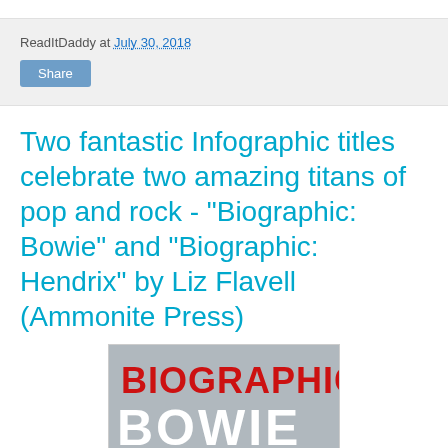ReadItDaddy at July 30, 2018
Share
Two fantastic Infographic titles celebrate two amazing titans of pop and rock - "Biographic: Bowie" and "Biographic: Hendrix" by Liz Flavell (Ammonite Press)
[Figure (illustration): Book cover for Biographic: Bowie — grey background with red bold text reading BIOGRAPHIC, white bold text reading BOWIE, and a red silhouette image at the bottom.]